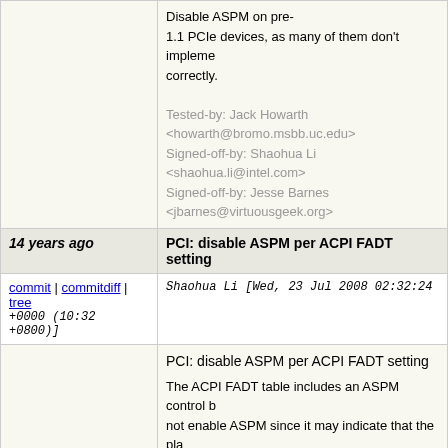Disable ASPM on pre-1.1 PCIe devices, as many of them don't implement it correctly.

Tested-by: Jack Howarth <howarth@bromo.msbb.uc.edu>
Signed-off-by: Shaohua Li <shaohua.li@intel.com>
Signed-off-by: Jesse Barnes <jbarnes@virtuousgeek.org>
| 14 years ago | PCI: disable ASPM per ACPI FADT setting |
| --- | --- |
commit | commitdiff | tree
Shaohua Li [Wed, 23 Jul 2008 02:32:24 +0000 (10:32 +0800)]
PCI: disable ASPM per ACPI FADT setting

The ACPI FADT table includes an ASPM control bit which tells us not to not enable ASPM since it may indicate that the platform doesn't support the feature.

Tested-by: Jack Howarth <howarth@bromo.msbb.uc.edu>
Signed-off-by: Shaohua Li <shaohua.li@intel.com>
Signed-off-by: Jesse Barnes <jbarnes@virtuousgeek.org>